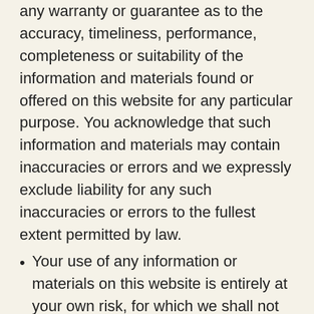any warranty or guarantee as to the accuracy, timeliness, performance, completeness or suitability of the information and materials found or offered on this website for any particular purpose. You acknowledge that such information and materials may contain inaccuracies or errors and we expressly exclude liability for any such inaccuracies or errors to the fullest extent permitted by law.
Your use of any information or materials on this website is entirely at your own risk, for which we shall not be liable. It shall be your own responsibility to ensure that any products, services or information available through this website meet your specific requirements.